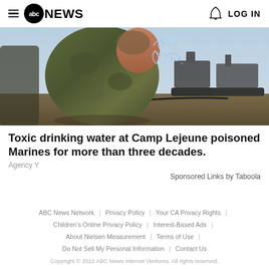ABC News — LOG IN
[Figure (photo): A soldier in camouflage uniform splashing water on their face outdoors, with military vehicles visible in the background.]
Toxic drinking water at Camp Lejeune poisoned Marines for more than three decades.
Agency Y
Sponsored Links by Taboola
ABC News Network | Privacy Policy | Your CA Privacy Rights | Children's Online Privacy Policy | Interest-Based Ads | About Nielsen Measurement | Terms of Use | Do Not Sell My Personal Information | Contact Us
Copyright © 2022 ABC News Internet Ventures. All rights reserved.